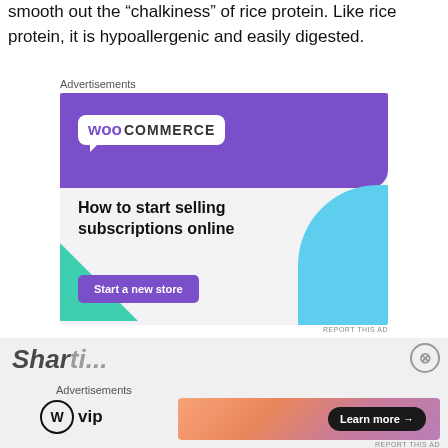smooth out the “chalkiness” of rice protein. Like rice protein, it is hypoallergenic and easily digested.
Advertisements
[Figure (screenshot): WooCommerce advertisement banner showing logo, headline 'How to start selling subscriptions online', and 'Start a new store' button with purple and teal design elements]
Advertisements
[Figure (screenshot): WordPress VIP logo on left with a gradient orange/pink banner on right containing 'Learn more →' button]